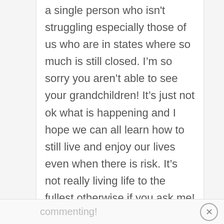a single person who isn't struggling especially those of us who are in states where so much is still closed. I'm so sorry you aren't able to see your grandchildren! It's just not ok what is happening and I hope we can all learn how to still live and enjoy our lives even when there is risk. It's not really living life to the fullest otherwise if you ask me! Thank you for commenting!